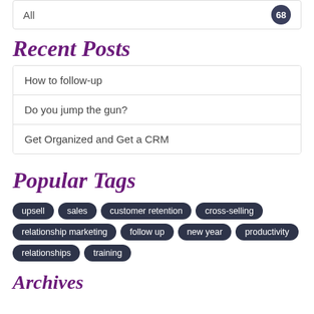All  68
Recent Posts
How to follow-up
Do you jump the gun?
Get Organized and Get a CRM
Popular Tags
upsell
sales
customer retention
cross-selling
relationship marketing
follow up
new year
productivity
relationships
training
Archives